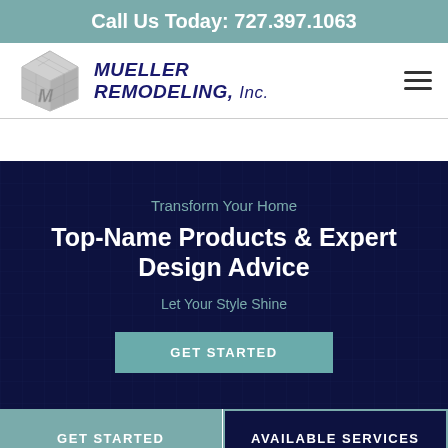Call Us Today: 727.397.1063
[Figure (logo): Mueller Remodeling Inc. logo with isometric M building graphic and italic bold company name]
Transform Your Home
Top-Name Products & Expert Design Advice
Let Your Style Shine
GET STARTED
GET STARTED
AVAILABLE SERVICES